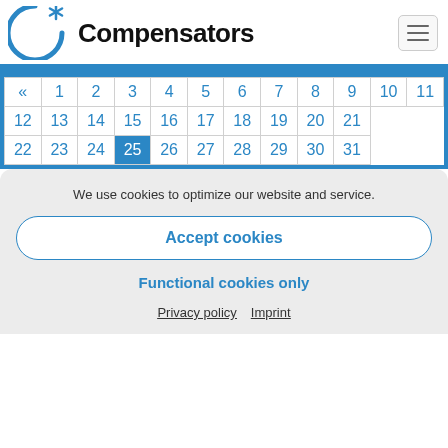[Figure (logo): Compensators logo with blue circular C and asterisk icon]
| « | 1 | 2 | 3 | 4 | 5 | 6 | 7 | 8 | 9 | 10 | 11 |
| --- | --- | --- | --- | --- | --- | --- | --- | --- | --- | --- | --- |
| 12 | 13 | 14 | 15 | 16 | 17 | 18 | 19 | 20 | 21 |
| 22 | 23 | 24 | 25 | 26 | 27 | 28 | 29 | 30 | 31 |
We use cookies to optimize our website and service.
Accept cookies
Functional cookies only
Privacy policy   Imprint